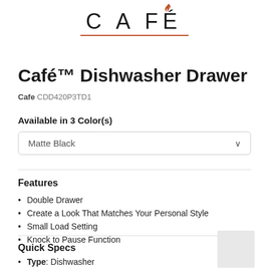[Figure (logo): CAFÉ brand logo with flame accent above the É, with a dark red/copper underline below the text]
Café™ Dishwasher Drawer
Cafe CDD420P3TD1
Available in 3 Color(s)
Matte Black
Features
Double Drawer
Create a Look That Matches Your Personal Style
Small Load Setting
Knock to Pause Function
Quick Specs
Type: Dishwasher